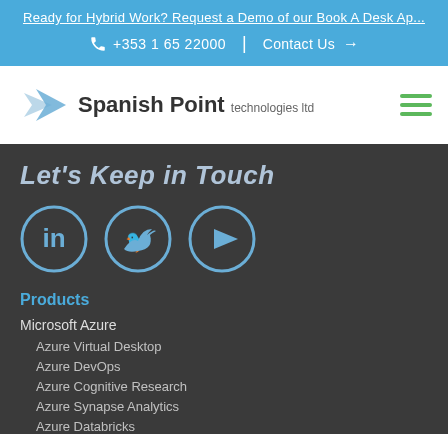Ready for Hybrid Work? Request a Demo of our Book A Desk Ap...
+353 1 65 22000 | Contact Us →
[Figure (logo): Spanish Point technologies ltd logo with blue arrow/chevron icon]
Let's Keep in Touch
[Figure (infographic): Social media icons: LinkedIn, Twitter, YouTube in blue circles]
Products
Microsoft Azure
Azure Virtual Desktop
Azure DevOps
Azure Cognitive Research
Azure Synapse Analytics
Azure Databricks